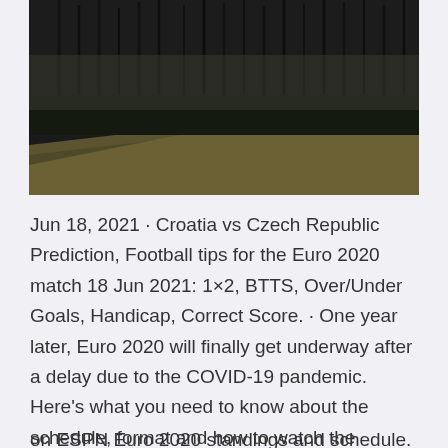[Figure (photo): Dark moody landscape photo showing a grassy hillside slope with tall dark pine trees silhouetted against a grey sky in the background.]
Jun 18, 2021 · Croatia vs Czech Republic Prediction, Football tips for the Euro 2020 match 18 Jun 2021: 1×2, BTTS, Over/Under Goals, Handicap, Correct Score. · One year later, Euro 2020 will finally get underway after a delay due to the COVID-19 pandemic. Here's what you need to know about the schedule, format and how to watch the tournament. Jun 07, 2021 · Euro 2020 fixtures: vs.
on ESPN Euro 2020 standings and schedule. Roger